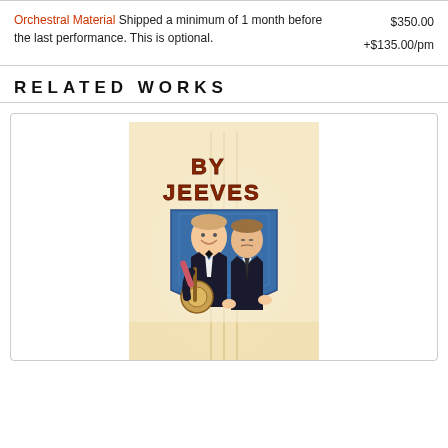Orchestral Material Shipped a minimum of 1 month before the last performance. This is optional.    $350.00  +$135.00/pm
RELATED WORKS
[Figure (illustration): Theater poster for 'By Jeeves' musical showing two caricatured male characters in formal wear, one holding a banjo, against a cream/beige background with art deco styling and the title 'BY JEEVES' in bold 3D red/brown letters at the top.]